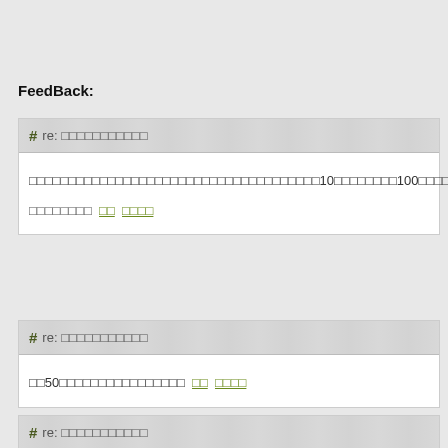FeedBack:
# re: □□□□□□□□□□□
□□□□□□□□□□□□□□□□□□□□□□□□□□□□□□□□□□□□□10□□□□□□□□100□□□□□□□□□□□□□□□□□□□□□□□□□□□□□□□□□□□□□□□□□□□□□□□□□□□
□□□□□□□□ □□ □□□□
# re: □□□□□□□□□□□
□□50□□□□□□□□□□□□□□□□ □□ □□□□
# re: □□□□□□□□□□□